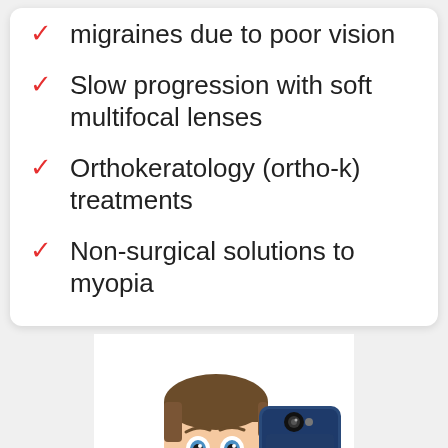migraines due to poor vision
Slow progression with soft multifocal lenses
Orthokeratology (ortho-k) treatments
Non-surgical solutions to myopia
[Figure (photo): A surprised young man holding a smartphone very close to his face, looking shocked, on a white background.]